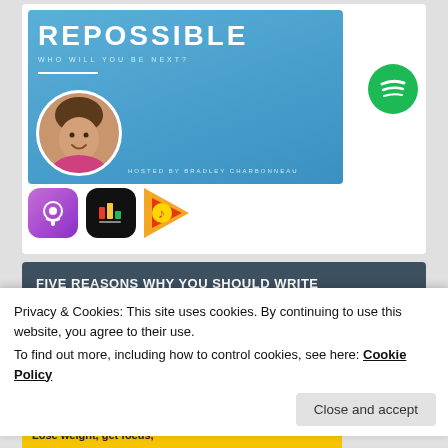[Figure (illustration): Repossible podcast banner: blue gradient background with white text 'REPOSSIBLE', subtitle 'WHO WILL YOU BE NEXT?', horizontal white line, circular host photo, and 'HOSTED BY BRADLEY CHARBONNEAU' text. Spotify green circle logo to the right. Apple Podcasts, Castbox, and Google Play Music icons below.]
FIVE REASONS WHY YOU SHOULD WRITE
Privacy & Cookies: This site uses cookies. By continuing to use this website, you agree to their use.
To find out more, including how to control cookies, see here: Cookie Policy
Close and accept
Lose weight, get focus,